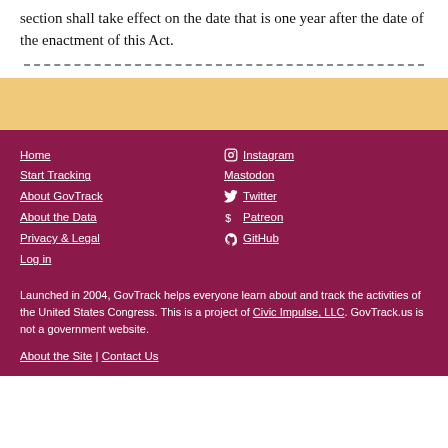section shall take effect on the date that is one year after the date of the enactment of this Act.
Home
Start Tracking
About GovTrack
About the Data
Privacy & Legal
Log in
Instagram
Mastodon
Twitter
Patreon
GitHub
Launched in 2004, GovTrack helps everyone learn about and track the activities of the United States Congress. This is a project of Civic Impulse, LLC. GovTrack.us is not a government website.
About the Site | Contact Us